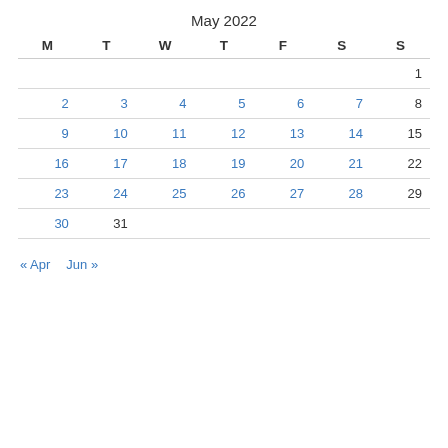May 2022
| M | T | W | T | F | S | S |
| --- | --- | --- | --- | --- | --- | --- |
|  |  |  |  |  |  | 1 |
| 2 | 3 | 4 | 5 | 6 | 7 | 8 |
| 9 | 10 | 11 | 12 | 13 | 14 | 15 |
| 16 | 17 | 18 | 19 | 20 | 21 | 22 |
| 23 | 24 | 25 | 26 | 27 | 28 | 29 |
| 30 | 31 |  |  |  |  |  |
« Apr   Jun »